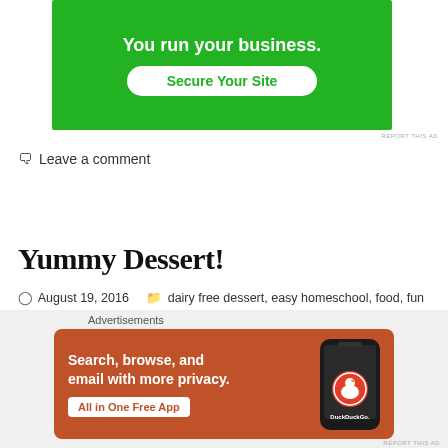[Figure (other): Green advertisement banner with text 'You run your business.' and 'Secure Your Site' button]
REPORT THIS AD
🗨 Leave a comment
Yummy Dessert!
August 19, 2016   dairy free dessert, easy homeschool, food, fun homeschool, Marriage, peach puff pastry   dairy free dessert, easy homeschool, food, fun homeschool, Marriage, peach
Advertisements
[Figure (other): DuckDuckGo orange advertisement: 'Search, browse, and email with more privacy. All in One Free App' with phone image and DuckDuckGo logo]
REPORT THIS AD